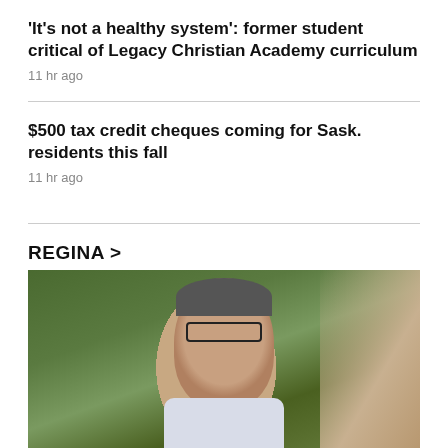'It's not a healthy system': former student critical of Legacy Christian Academy curriculum
11 hr ago
$500 tax credit cheques coming for Sask. residents this fall
11 hr ago
REGINA >
[Figure (photo): A man with short grey hair and glasses, wearing a light blue/white checked shirt, speaking outdoors with green trees in the background.]